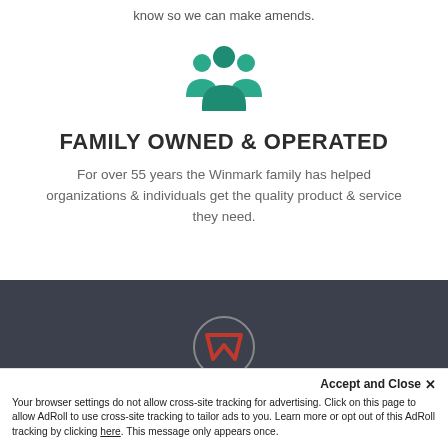know so we can make amends.
[Figure (illustration): Teal/green group of people icon (three figures)]
FAMILY OWNED & OPERATED
For over 55 years the Winmark family has helped organizations & individuals get the quality product & service they need.
[Figure (logo): Winmark logo on dark background]
Accept and Close ✕
Your browser settings do not allow cross-site tracking for advertising. Click on this page to allow AdRoll to use cross-site tracking to tailor ads to you. Learn more or opt out of this AdRoll tracking by clicking here. This message only appears once.